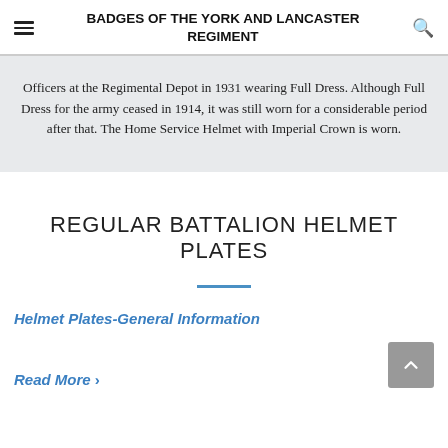BADGES OF THE YORK AND LANCASTER REGIMENT
Officers at the Regimental Depot in 1931 wearing Full Dress. Although Full Dress for the army ceased in 1914, it was still worn for a considerable period after that. The Home Service Helmet with Imperial Crown is worn.
REGULAR BATTALION HELMET PLATES
Helmet Plates-General Information
Read More >